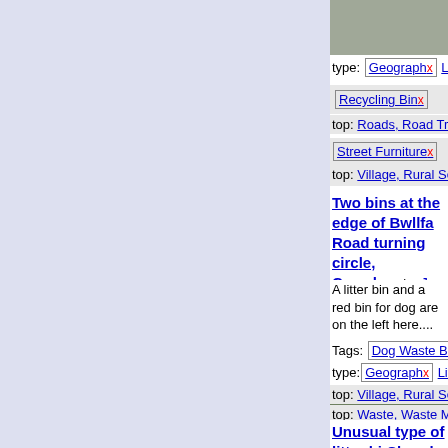[Figure (photo): Road with white line markings]
type: Geograph x   Litter Bin
Recycling Bin x
top: Roads, Road Transport
Street Furniture x
top: Village, Rural Settlement
Two bins at the edge of Bwllfa Road turning circle, Cwmdare by Jaggery geograph for square SN9
A litter bin and a red bin for dog are on the left here.... (more)
[Figure (photo): Road with bins and trees at Cwmdare]
Tags: Dog Waste Bin x
type: Geograph x   Litter Bin
top: Village, Rural Settlement
top: Waste, Waste Management
Unusual type of litter bin Church Place, Bargoed Jaggery for square ST1599
Viewed in June 2018. I don't re
[Figure (photo): Building and tree at Church Place Bargoed]